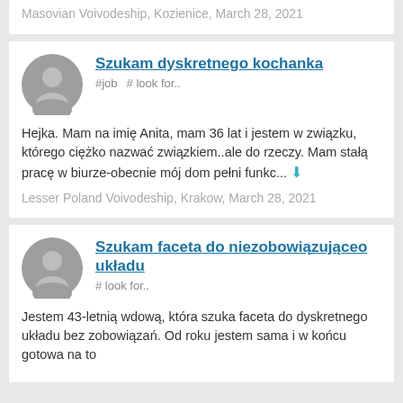Masovian Voivodeship, Kozienice, March 28, 2021
Szukam dyskretnego kochanka
#job  # look for..
Hejka. Mam na imię Anita, mam 36 lat i jestem w związku, którego ciężko nazwać związkiem..ale do rzeczy. Mam stałą pracę w biurze-obecnie mój dom pełni funkc...
Lesser Poland Voivodeship, Krakow, March 28, 2021
Szukam faceta do niezobowiązująceo układu
# look for..
Jestem 43-letnią wdową, która szuka faceta do dyskretnego układu bez zobowiązań. Od roku jestem sama i w końcu gotowa na to